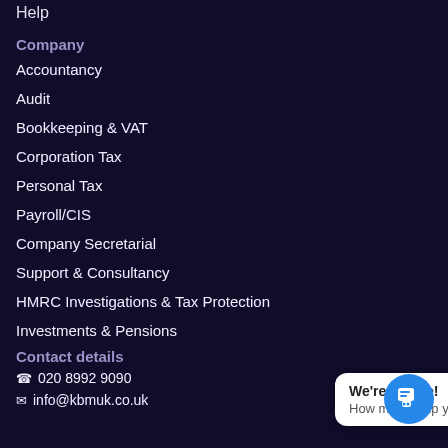Help
Company
Accountancy
Audit
Bookkeeping & VAT
Corporation Tax
Personal Tax
Payroll/CIS
Company Secretarial
Support & Consultancy
HMRC Investigations & Tax Protection
Investments & Pensions
Contact details
020 8992 9090
info@kbmuk.co.uk
[Figure (other): Live chat widget with 'We're Online! How may I help you toda...' message bubble and blue chat button with speech bubble icon]